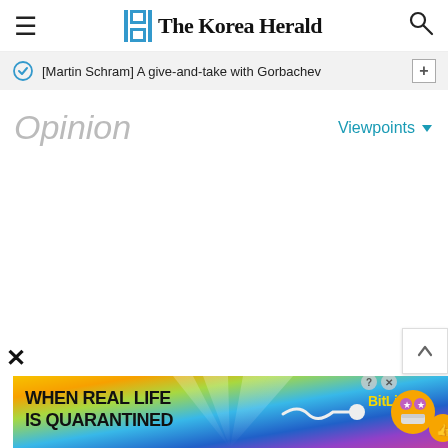The Korea Herald
[Martin Schram] A give-and-take with Gorbachev
Opinion
Viewpoints
[Figure (screenshot): Advertisement banner: WHEN REAL LIFE IS QUARANTINED - BitLife mobile game ad with rainbow/colorful background and emoji character]
X